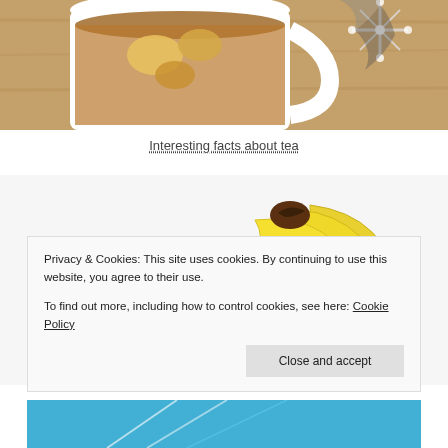[Figure (photo): Top portion of a tea cup with tea and fruits visible, along with a snowflake decoration, on a wooden surface]
Interesting facts about tea
[Figure (photo): Three bananas with several banana slices arranged on a white background]
Privacy & Cookies: This site uses cookies. By continuing to use this website, you agree to their use.
To find out more, including how to control cookies, see here: Cookie Policy
[Figure (screenshot): Partial bottom image with blue background, partially cut off]